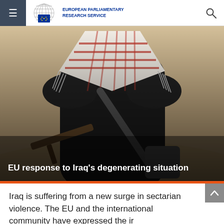European Parliamentary Research Service
[Figure (photo): Person from behind wearing a black outfit and a red-and-white keffiyeh headdress, holding a rifle, in a desert/arid environment.]
EU response to Iraq's degenerating situation
Iraq is suffering from a new surge in sectarian violence. The EU and the international community have expressed the ir...